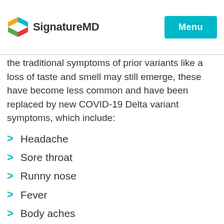SignatureMD | Menu
the traditional symptoms of prior variants like a loss of taste and smell may still emerge, these have become less common and have been replaced by new COVID-19 Delta variant symptoms, which include:
Headache
Sore throat
Runny nose
Fever
Body aches
Chills
Persistent cough